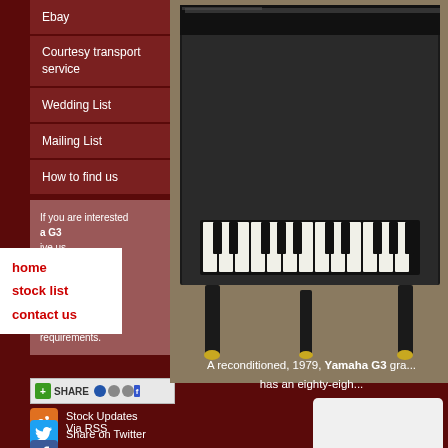Ebay
Courtesy transport service
Wedding List
Mailing List
How to find us
If you are interested ...a G3 ...ive us ...244 or ...ng ...ppy to discuss your requirements.
home
stock list
contact us
[Figure (screenshot): Share button with social icons (AddThis style share widget)]
[Figure (photo): Black grand piano (Yamaha G3) photograph showing the keyboard, lid, and legs on a stone floor]
Stock Updates Via RSS
Share on Twitter
Share on
A reconditioned, 1979, Yamaha G3 gra... has an eighty-eigh...